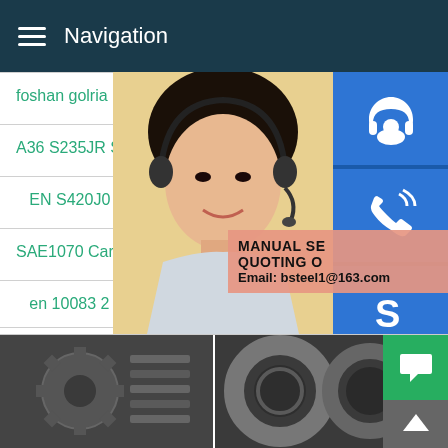Navigation
foshan golria manufacturer 2
A36 S235JR SS400 Q235 Carbon shee
EN S420J0 double T steel
SAE1070 Carbon Steel Coil with Ho
en 10083 2 material com
MANUAL SE
QUOTING O
Email: bsteel1@163.com
[Figure (photo): Steel product photos: cut steel plate with gear-like shape (left), steel coil rings (right)]
[Figure (screenshot): Mobile website navigation UI with hamburger menu, product list items in teal, customer service overlay with woman wearing headset, blue icon buttons (headset, phone, Skype), and MANUAL SE / QUOTING O / Email contact popup]